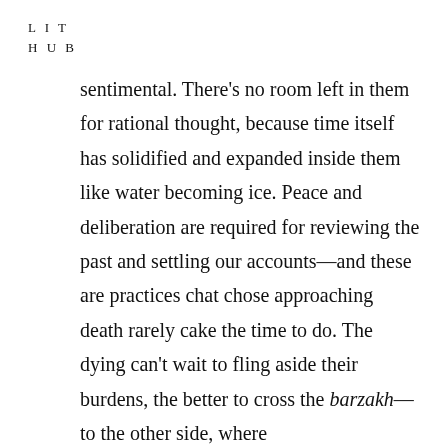LIT
HUB
sentimental. There's no room left in them for rational thought, because time itself has solidified and expanded inside them like water becoming ice. Peace and deliberation are required for reviewing the past and settling our accounts—and these are practices chat chose approaching death rarely cake the time to do. The dying can't wait to fling aside their burdens, the better to cross the barzakh—to the other side, where